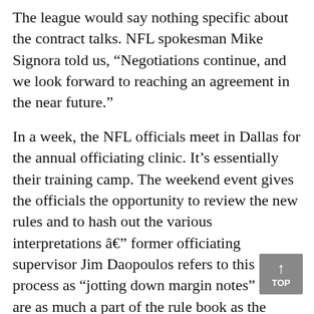The league would say nothing specific about the contract talks. NFL spokesman Mike Signora told us, “Negotiations continue, and we look forward to reaching an agreement in the near future.”
In a week, the NFL officials meet in Dallas for the annual officiating clinic. It’s essentially their training camp. The weekend event gives the officials the opportunity to review the new rules and to hash out the various interpretations â€” former officiating supervisor Jim Daopoulos refers to this process as “jotting down margin notes” that are as much a part of the rule book as the actual rules. Officials also will be tested in rules knowledge and physical fitness. (To learn about a good portion of those margin notes, listen to our interview with Dean Blandino, the vice president of officiating.)